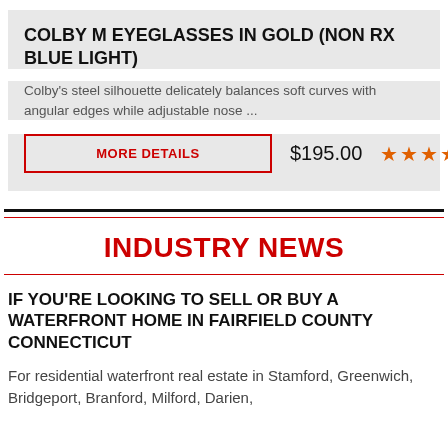COLBY M EYEGLASSES IN GOLD (NON RX BLUE LIGHT)
Colby's steel silhouette delicately balances soft curves with angular edges while adjustable nose ...
MORE DETAILS   $195.00  ★★★★★
INDUSTRY NEWS
IF YOU'RE LOOKING TO SELL OR BUY A WATERFRONT HOME IN FAIRFIELD COUNTY CONNECTICUT
For residential waterfront real estate in Stamford, Greenwich, Bridgeport, Branford, Milford, Darien,